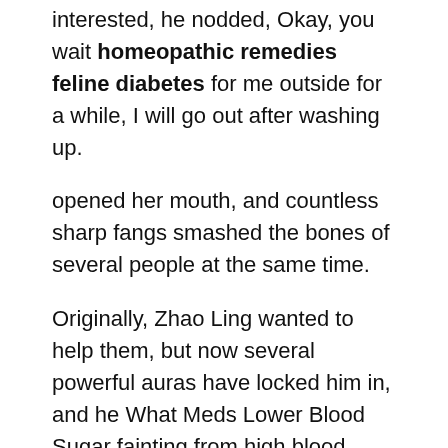interested, he nodded, Okay, you wait homeopathic remedies feline diabetes for me outside for a while, I will go out after washing up.
opened her mouth, and countless sharp fangs smashed the bones of several people at the same time.
Originally, Zhao Ling wanted to help them, but now several powerful auras have locked him in, and he What Meds Lower Blood Sugar fainting from high blood sugar can no longer be distracted.
It seems that he really wants to mix with this young man in the future, although Emperor Yueming is the emperor of this God Realm.
When the time is right, I will kill him again.Ah.As soon as the voice fell, three people roared and rushed towards Zhao Gang, and they started punching and kicking.